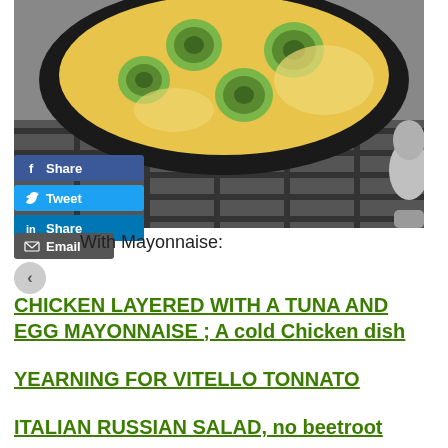[Figure (photo): A black frying pan on a gas stove containing a frittata or egg dish with sliced zucchini, cooked in a yellow egg mixture. The pan is on a black gas burner grate.]
Share (Facebook)
Tweet (Twitter)
Share (LinkedIn)
Email
With Mayonnaise:
CHICKEN LAYERED WITH A TUNA AND EGG MAYONNAISE ; A cold Chicken dish
YEARNING FOR VITELLO TONNATO
ITALIAN RUSSIAN SALAD, no beetroot